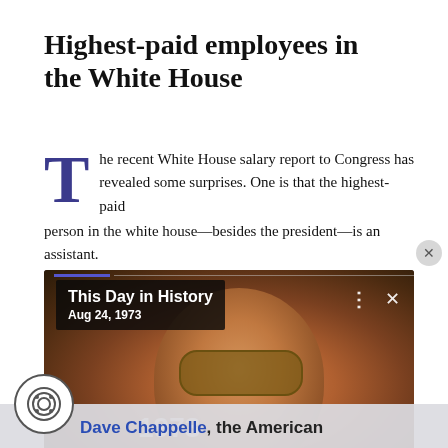Highest-paid employees in the White House
The recent White House salary report to Congress has revealed some surprises. One is that the highest-paid person in the white house—besides the president—is an assistant.
[Figure (photo): Photo of a smiling man wearing sunglasses, with overlay 'This Day in History / Aug 24, 1973']
Dave Chappelle, the American